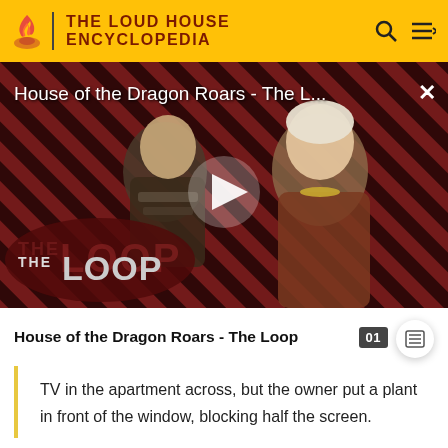THE LOUD HOUSE ENCYCLOPEDIA
[Figure (screenshot): Video thumbnail for 'House of the Dragon Roars - The L...' showing two characters from House of the Dragon against a red and black diagonal stripe background, with a play button overlay and 'THE LOOP' badge in the lower left. A close (X) button appears in the top right.]
House of the Dragon Roars - The Loop
TV in the apartment across, but the owner put a plant in front of the window, blocking half the screen.